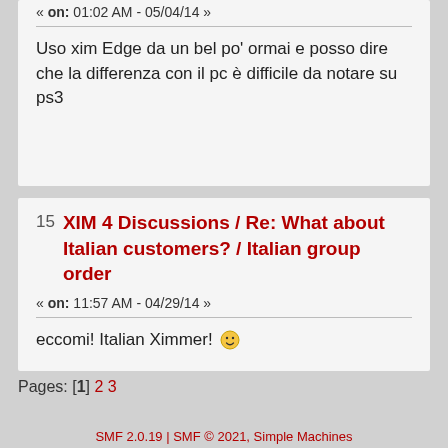« on: 01:02 AM - 05/04/14 »
Uso xim Edge da un bel po' ormai e posso dire che la differenza con il pc è difficile da notare su ps3
15 XIM 4 Discussions / Re: What about Italian customers? / Italian group order
« on: 11:57 AM - 04/29/14 »
eccomi! Italian Ximmer! 🙂
Pages: [1] 2 3
SMF 2.0.19 | SMF © 2021, Simple Machines